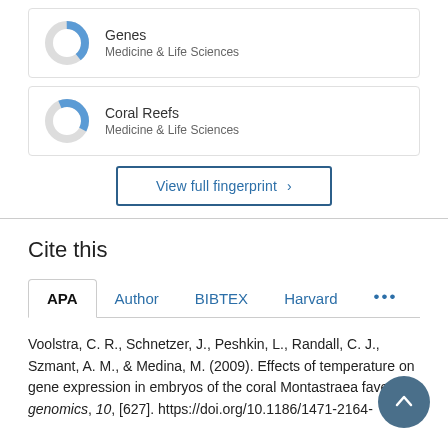[Figure (donut-chart): Partial donut chart showing Genes, Medicine & Life Sciences]
[Figure (donut-chart): Partial donut chart showing Coral Reefs, Medicine & Life Sciences]
View full fingerprint >
Cite this
APA  Author  BIBTEX  Harvard  ...
Voolstra, C. R., Schnetzer, J., Peshkin, L., Randall, C. J., Szmant, A. M., & Medina, M. (2009). Effects of temperature on gene expression in embryos of the coral Montastraea faveolata genomics, 10, [627]. https://doi.org/10.1186/1471-2164-